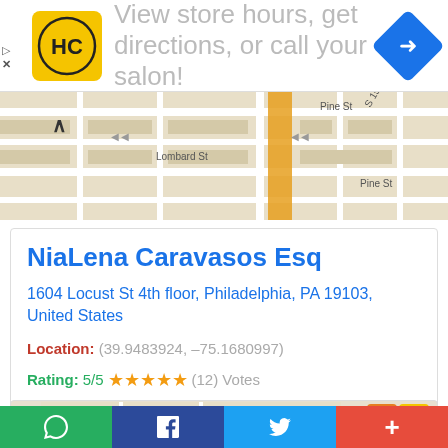[Figure (screenshot): Ad banner with HC logo, text 'View store hours, get directions, or call your salon!' and navigation arrow icon]
[Figure (map): Street map snippet showing Lombard St, Pine St, S 15th St area in Philadelphia]
NiaLena Caravasos Esq
1604 Locust St 4th floor, Philadelphia, PA 19103, United States
Location: (39.9483924, -75.1680997)
Rating: 5/5 ★★★★★ (12) Votes
CONTACT DETAILS
[Figure (screenshot): Partial bottom card showing W Lemon St map and orange icon]
WhatsApp Facebook Twitter Plus